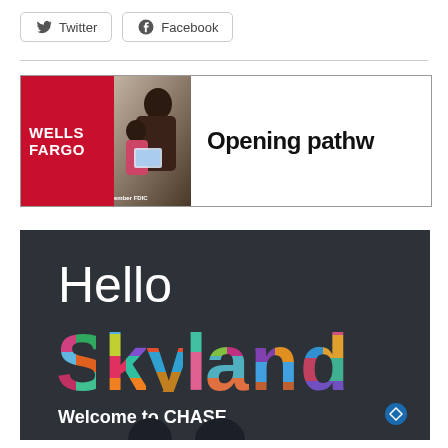[Figure (other): Twitter social share button with bird icon]
[Figure (other): Facebook social share button with f icon]
[Figure (other): Wells Fargo advertisement banner showing logo, mother and child photo, and tagline 'Opening pathw']
[Figure (other): Chase bank advertisement showing 'Hello Skyland, Welcome to CHASE' with colorful mosaic lettering on dark background]